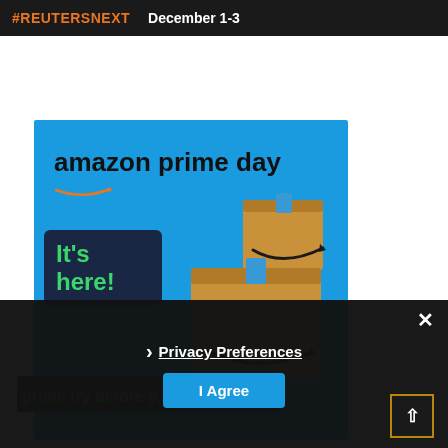[Figure (screenshot): Reuters Next event banner — dark background with orange '#REUTERSNEXT' hashtag text and white 'December 1-3' date text]
[Figure (screenshot): Amazon Prime Day advertisement on blue background with 'amazon prime day' title, Amazon smile logo, 'It's here!' in dark box with green text, stacked Amazon cardboard boxes, and 'Shop now' button]
prime try before y...
Privacy Preferences
I Agree